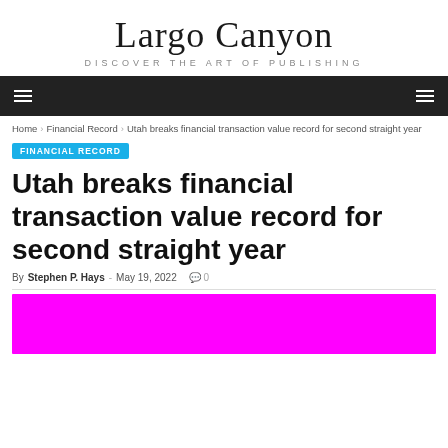Largo Canyon
DISCOVER THE ART OF PUBLISHING
Home > Financial Record > Utah breaks financial transaction value record for second straight year
FINANCIAL RECORD
Utah breaks financial transaction value record for second straight year
By Stephen P. Hays - May 19, 2022  0
[Figure (photo): Solid magenta/fuchsia colored image placeholder]